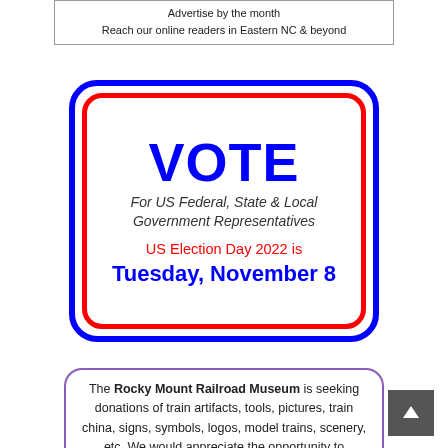Advertise by the month
Reach our online readers in Eastern NC & beyond
[Figure (infographic): VOTE infographic with blue outer rounded rectangle border and red inner rounded rectangle border. Contains large blue 'VOTE' heading, italic text 'For US Federal, State & Local Government Representatives', red text 'US Election Day 2022 is', bold blue text 'Tuesday, November 8'.]
The Rocky Mount Railroad Museum is seeking donations of train artifacts, tools, pictures, train china, signs, symbols, logos, model trains, scenery, etc. We would appreciate the opportunity to examine your items to determine if we can mutually accommodate each other by maintaining